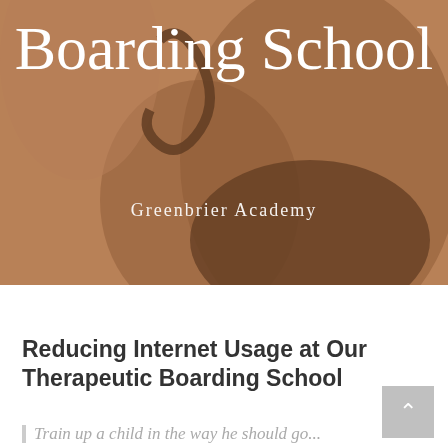[Figure (photo): Hero image of a person with hands raised, overlaid with a warm brownish-tan semi-transparent overlay. Large white serif text reads 'Boarding School' with 'Greenbrier Academy' subtitle below.]
Boarding School
Greenbrier Academy
Reducing Internet Usage at Our Therapeutic Boarding School
Train up a child in the way he should go...